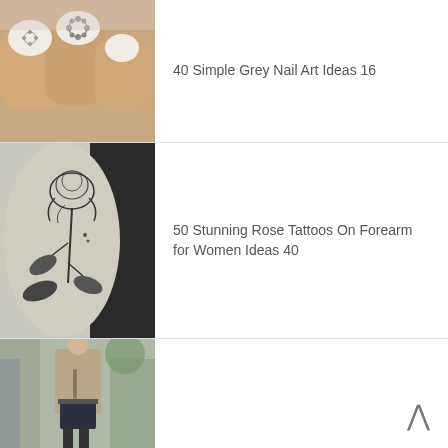[Figure (photo): Close-up of fingers with grey floral nail art on light-colored nails]
40 Simple Grey Nail Art Ideas 16
[Figure (photo): A detailed black ink rose tattoo on a forearm, with stem and leaves]
50 Stunning Rose Tattoos On Forearm for Women Ideas 40
[Figure (photo): A woman wearing a tan coat, navy mini skirt, and black tights outdoors]